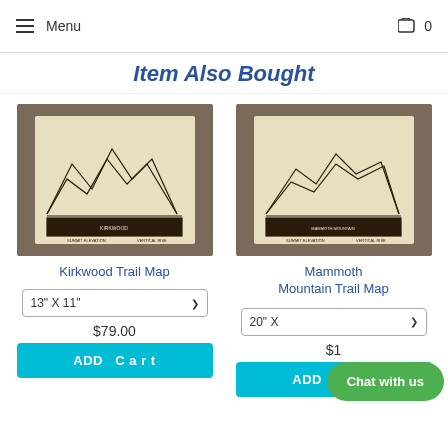Menu  0
Item Also Bought
[Figure (photo): Photo of Kirkwood Trail Map art print mounted on dark wood, showing geometric mountain line art on cream paper]
Kirkwood Trail Map
[Figure (photo): Photo of Mammoth Mountain Trail Map art print mounted on dark wood, showing geometric mountain line art on cream paper]
Mammoth Mountain Trail Map
13" X 11"
$79.00
20" X
$1
Chat with us